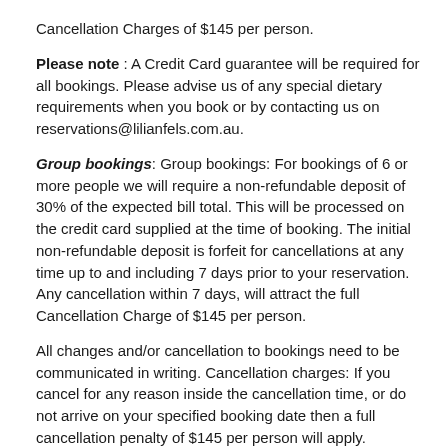Cancellation Charges of $145 per person.
Please note: A Credit Card guarantee will be required for all bookings. Please advise us of any special dietary requirements when you book or by contacting us on reservations@lilianfels.com.au.
Group bookings: Group bookings: For bookings of 6 or more people we will require a non-refundable deposit of 30% of the expected bill total. This will be processed on the credit card supplied at the time of booking. The initial non-refundable deposit is forfeit for cancellations at any time up to and including 7 days prior to your reservation. Any cancellation within 7 days, will attract the full Cancellation Charge of $145 per person.
All changes and/or cancellation to bookings need to be communicated in writing. Cancellation charges: If you cancel for any reason inside the cancellation time, or do not arrive on your specified booking date then a full cancellation penalty of $145 per person will apply.
Special events: Full prepayment is required for all Special Events (for example: Christmas Day, New Year's Eve, Valentine's Day, Yulefest, Long Weekends and Ticketed events) . These bookings